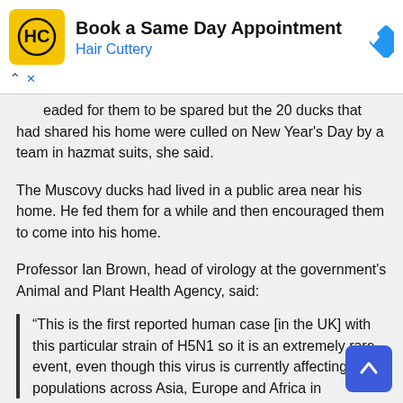[Figure (advertisement): Hair Cuttery ad banner with logo, 'Book a Same Day Appointment' text, and navigation icon]
eaded for them to be spared but the 20 ducks that had shared his home were culled on New Year's Day by a team in hazmat suits, she said.
The Muscovy ducks had lived in a public area near his home. He fed them for a while and then encouraged them to come into his home.
Professor Ian Brown, head of virology at the government's Animal and Plant Health Agency, said:
“This is the first reported human case [in the UK] with this particular strain of H5N1 so it is an extremely rare event, even though this virus is currently affecting bird populations across Asia, Europe and Africa in